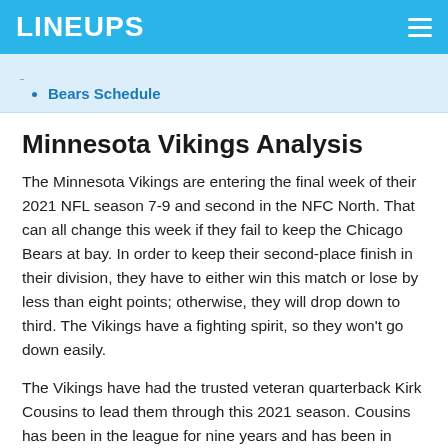LINEUPS
Bears Schedule
Minnesota Vikings Analysis
The Minnesota Vikings are entering the final week of their 2021 NFL season 7-9 and second in the NFC North. That can all change this week if they fail to keep the Chicago Bears at bay. In order to keep their second-place finish in their division, they have to either win this match or lose by less than eight points; otherwise, they will drop down to third. The Vikings have a fighting spirit, so they won't go down easily.
The Vikings have had the trusted veteran quarterback Kirk Cousins to lead them through this 2021 season. Cousins has been in the league for nine years and has been in Minnesota since 2018. This season, Cousins found himself in the top 10